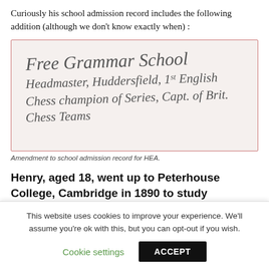Curiously his school admission record includes the following addition (although we don't know exactly when) :
[Figure (photo): A handwritten note on a school admission record, written in cursive script. The text reads: 'Free Grammar School Headmaster, Huddersfield, 1st English Chess champion of Series, Capt. of British Chess Teams.']
Amendment to school admission record for HEA.
Henry, aged 18, went up to Peterhouse College, Cambridge in 1890 to study mathematics. From his year of entry he was
This website uses cookies to improve your experience. We'll assume you're ok with this, but you can opt-out if you wish.
Cookie settings   ACCEPT